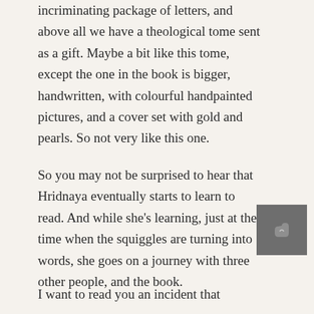incriminating package of letters, and above all we have a theological tome sent as a gift. Maybe a bit like this tome, except the one in the book is bigger, handwritten, with colourful handpainted pictures, and a cover set with gold and pearls. So not very like this one.
So you may not be surprised to hear that Hridnaya eventually starts to learn to read. And while she's learning, just at the time when the squiggles are turning into words, she goes on a journey with three other people, and the book.
I want to read you an incident that